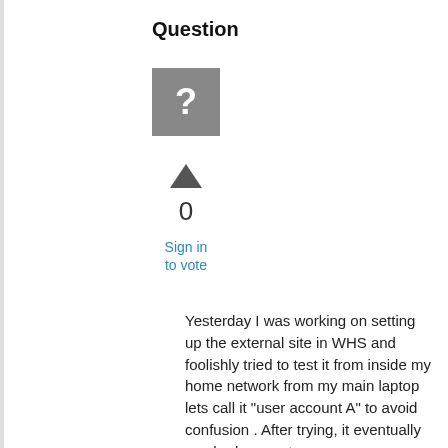Question
[Figure (illustration): Gray square avatar icon with a white question mark in the center]
[Figure (other): Upward-pointing triangle arrow icon for voting up]
0
Sign in to vote
Yesterday I was working on setting up the external site in WHS and foolishly tried to test it from inside my home network from my main laptop lets call it "user account A" to avoid confusion . After trying, it eventually crashed my router.
Fast forward to today, I was able to access the external site from work just fine. I tried to log in from as user account A, which was also an administrator account, but not the main admin account, I tried a few times, maybe too many? I used logmein to log into the server over the web from work